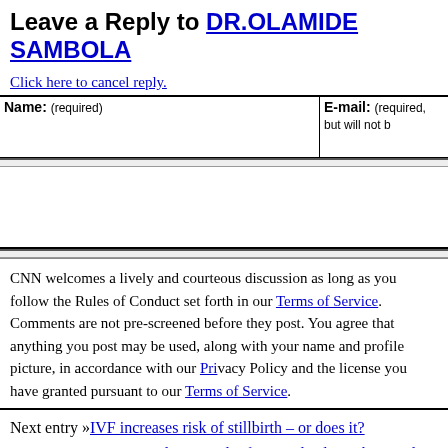Leave a Reply to DR.OLAMIDE SAMBOLA
Click here to cancel reply.
| Name: (required) | E-mail: (required, but will not be published) |
| --- | --- |
|  |  |
CNN welcomes a lively and courteous discussion as long as you follow the Rules of Conduct set forth in our Terms of Service. Comments are not pre-screened before they post. You agree that anything you post may be used, along with your name and profile picture, in accordance with our Privacy Policy and the license you have granted pursuant to our Terms of Service.
Next entry »IVF increases risk of stillbirth – or does it?
« Previous entryHospital-acquired infections lead to substantial loss